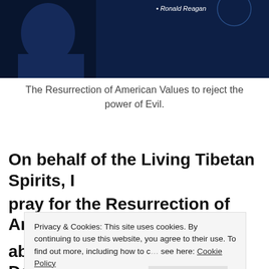[Figure (photo): Dark blue banner image showing a person (Ronald Reagan) with text attribution '• Ronald Reagan' in white on a dark blue/navy background]
The Resurrection of American Values to reject the power of Evil.
On behalf of the Living Tibetan Spirits, I pray for the Resurrection of American about the reincarnation of the Dalai Lama.
Privacy & Cookies: This site uses cookies. By continuing to use this website, you agree to their use. To find out more, including how to c… see here: Cookie Policy
Close and accept